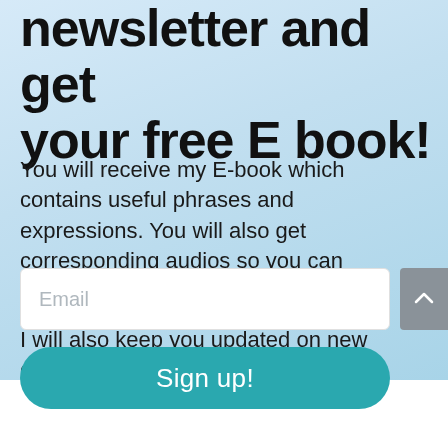newsletter and get your free E book!
You will receive my E-book which contains useful phrases and expressions. You will also get corresponding audios so you can practice listening!

I will also keep you updated on new content and courses I make!
Email
Sign up!